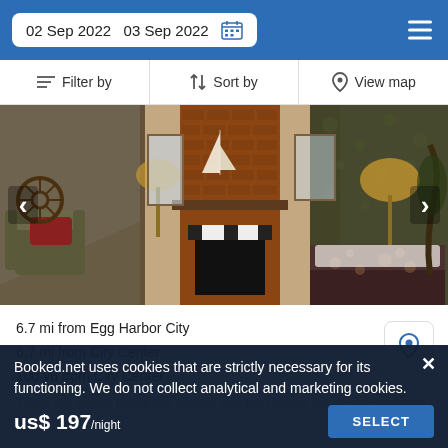02 Sep 2022   03 Sep 2022
Filter by   Sort by   View map
[Figure (photo): Interior photo of a rustic hotel room with brick fireplace, sloped ceiling, floral wallpaper, armchair with red pillow, nautical sailboat model above fireplace, and ornate bedspread. Navigation arrows on left and right.]
6.7 mi from Egg Harbor City
6.7 mi from City Center
100 yd from City Center
There are rooms facing the garden and the hotel is set close to
The Cove
Booked.net uses cookies that are strictly necessary for its functioning. We do not collect analytical and marketing cookies. us$ 197/night   SELECT